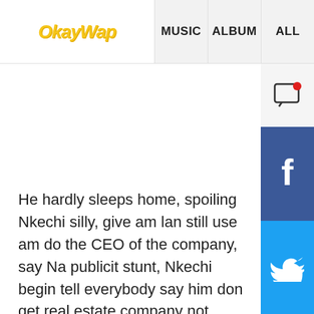OkayWap | MUSIC | ALBUM | ALL
He hardly sleeps home, spoiling Nkechi silly, give am lan still use am do the CEO of the company, say Na publicity stunt, Nkechi begin tell everybody say him don get real estate company not minding the wife who Dey with oga when noting Dey, not feeling for the wife, after the wife reported the matter to the elders thy tried to weigh in but it